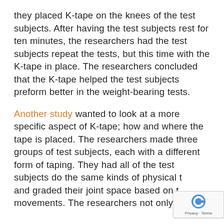they placed K-tape on the knees of the test subjects. After having the test subjects rest for ten minutes, the researchers had the test subjects repeat the tests, but this time with the K-tape in place. The researchers concluded that the K-tape helped the test subjects preform better in the weight-bearing tests.
Another study wanted to look at a more specific aspect of K-tape; how and where the tape is placed. The researchers made three groups of test subjects, each with a different form of taping. They had all of the test subjects do the same kinds of physical tests and graded their joint space based on their movements. The researchers not only